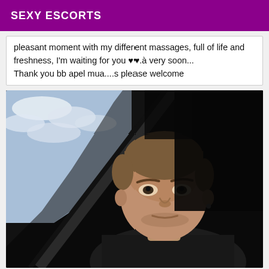SEXY ESCORTS
pleasant moment with my different massages, full of life and freshness, I'm waiting for you ♥♥.à very soon... Thank you bb apel mua....s please welcome
[Figure (photo): A man taking a selfie in a car. He has short brown hair, is looking at the camera with a neutral expression. The car window shows a sky with clouds in the background. The interior of the car is dark.]